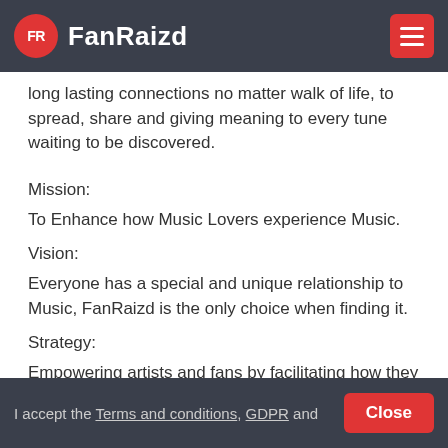FanRaizd
long lasting connections no matter walk of life, to spread, share and giving meaning to every tune waiting to be discovered.
Mission:
To Enhance how Music Lovers experience Music.
Vision:
Everyone has a special and unique relationship to Music, FanRaizd is the only choice when finding it.
Strategy:
Empowering artists and fans by facilitating how they connect and establish relationships, together driving chances of getting attention, receiving wider spread and seeing higher income than maginable today.
I accept the Terms and conditions, GDPR and